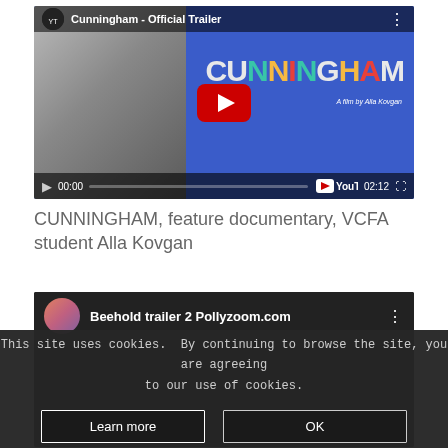[Figure (screenshot): YouTube embedded video player showing the official trailer for 'Cunningham', a film by Alla Kovgan. The thumbnail shows a dancer in grayscale on the left and the colorful 'CUNNINGHAM' title text on a blue background on the right, with a red YouTube play button in the center. The bottom bar shows 00:00 / 02:12 and YouTube logo.]
CUNNINGHAM, feature documentary, VCFA student Alla Kovgan
[Figure (screenshot): YouTube embedded video player showing 'Beehold trailer 2 Pollyzoom.com' with a circular avatar of a woman in the top bar. A cookie consent overlay is displayed over the bottom portion of the page.]